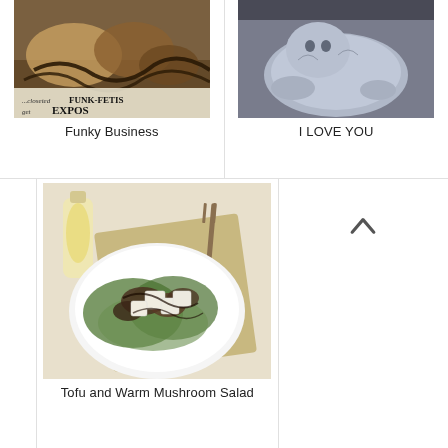[Figure (photo): Photo of food with dark sauce and text overlay reading '...closeted FUNK-FETIS get EXPOS']
Funky Business
[Figure (photo): Photo of a grey/blue cat curled up]
I LOVE YOU
[Figure (photo): Photo of a tofu and warm mushroom salad on a white plate with dressing bottle and fork]
Tofu and Warm Mushroom Salad